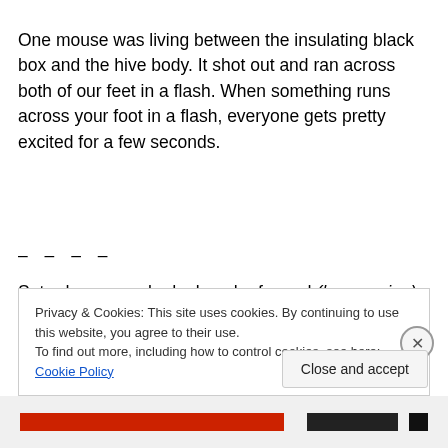One mouse was living between the insulating black box and the hive body. It shot out and ran across both of our feet in a flash. When something runs across your foot in a flash, everyone gets pretty excited for a few seconds.
– – – –
Saturday, we racked a bunch of mead (honey wine) that we started last fall. As you may remember, racking is moving the mead to a new bottle, leaving the layer of dead yeast, lees, behind. OF COURSE we taste test everything
Privacy & Cookies: This site uses cookies. By continuing to use this website, you agree to their use.
To find out more, including how to control cookies, see here: Cookie Policy
Close and accept